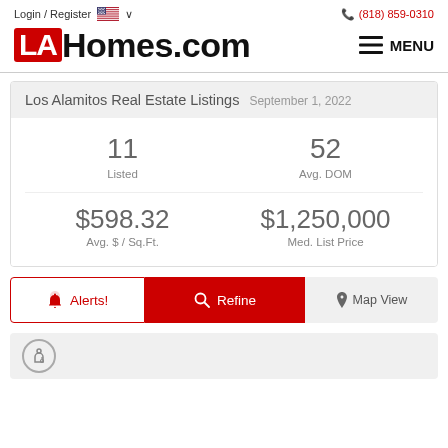Login / Register  🇺🇸 ∨    (818) 859-0310
[Figure (logo): LAHomes.com logo with red LA box and black Homes.com text, plus MENU button]
Los Alamitos Real Estate Listings  September 1, 2022
| 11 | 52 |
| Listed | Avg. DOM |
| $598.32 | $1,250,000 |
| Avg. $ / Sq.Ft. | Med. List Price |
Alerts!  Refine  Map View